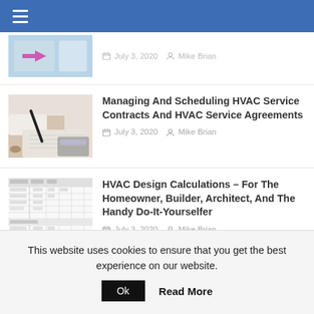Navigation bar with hamburger menu
[Figure (screenshot): Partial top article thumbnail showing blue UI element with arrow, and partial metadata text cut off at top]
July 3, 2020   Mike Brian
[Figure (photo): Photo of a person's hand writing in a notebook with a pen, a calculator visible in the background]
Managing And Scheduling HVAC Service Contracts And HVAC Service Agreements
July 3, 2020   Mike Brian
[Figure (screenshot): Screenshot of an HVAC design calculation spreadsheet/table with rows and columns of data]
HVAC Design Calculations – For The Homeowner, Builder, Architect, And The Handy Do-It-Yourselfer
July 3, 2020   Mike Brian
HVAC Contractors
July 3, 2020   Mike Brian
This website uses cookies to ensure that you get the best experience on our website.
Ok   Read More